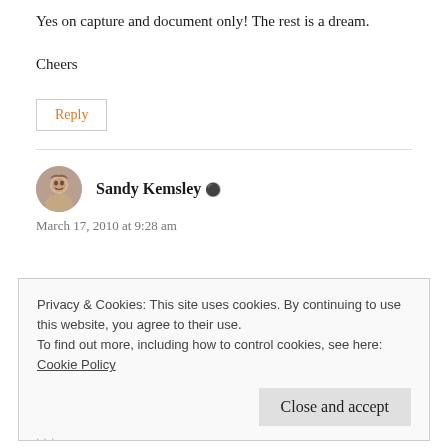Yes on capture and document only! The rest is a dream.
Cheers
Reply
Sandy Kemsley
March 17, 2010 at 9:28 am
Privacy & Cookies: This site uses cookies. By continuing to use this website, you agree to their use.
To find out more, including how to control cookies, see here:
Cookie Policy
Close and accept